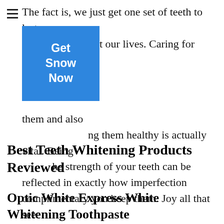The fact is, we just get one set of teeth to last us throughout our lives. Caring for them and also keeping them healthy is actually vital. Being proud of the strength of your teeth can be reflected in exactly how imperfection complimentary you keep them. Joy all that see you by attempting one of these teeth lightening systems.
[Figure (other): Blue CTA button with text 'Get Snow Now']
Best Teeth Whitening Products Reviewed
Optic White Express White Whitening Toothpaste